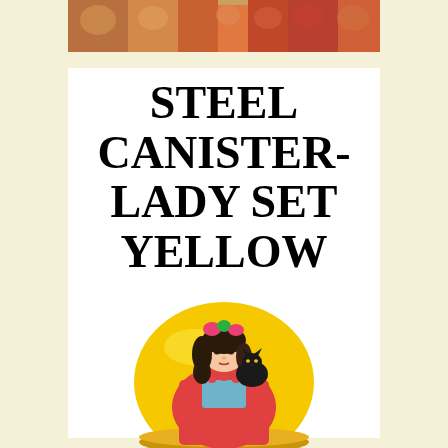[Figure (photo): Partial view of colorful decorative figurines at the top of the page]
STEEL CANISTER- LADY SET YELLOW
[Figure (photo): Yellow oval steel canister with illustrated lady holding a black cat, wearing a floral outfit with pink flowers in her hair]